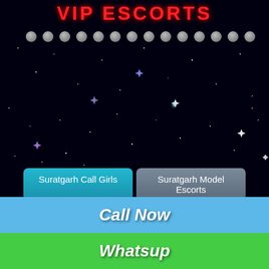VIP ESCORTS
[Figure (illustration): Starfield background with glowing stars and sparkles on black background, with a row of grey circular dots/bubbles near the top]
Suratgarh Call Girls
Suratgarh Model Escorts
Suratgarh Housewife Escorts
Suratgarh Air-Hostess Escorts
Suratgarh Celebrity Escorts
Suratgarh Teen Escorts
Suratgarh Punjabi Escorts
Suratgarh VIP Escorts
Suratgarh High Profile Escorts
Call Now
Whatsup